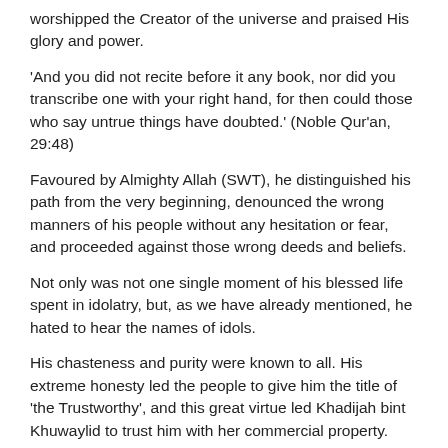worshipped the Creator of the universe and praised His glory and power.
'And you did not recite before it any book, nor did you transcribe one with your right hand, for then could those who say untrue things have doubted.' (Noble Qur'an, 29:48)
Favoured by Almighty Allah (SWT), he distinguished his path from the very beginning, denounced the wrong manners of his people without any hesitation or fear, and proceeded against those wrong deeds and beliefs.
Not only was not one single moment of his blessed life spent in idolatry, but, as we have already mentioned, he hated to hear the names of idols.
His chasteness and purity were known to all. His extreme honesty led the people to give him the title of 'the Trustworthy', and this great virtue led Khadijah bint Khuwaylid to trust him with her commercial property.